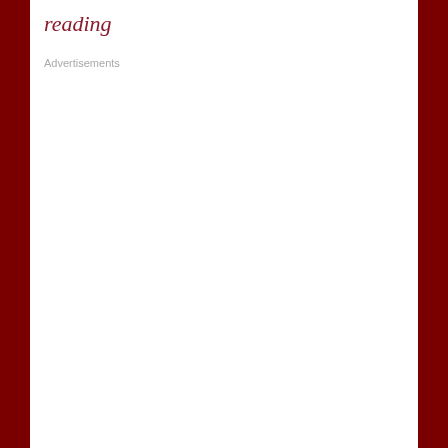reading
Advertisements
REPORT THIS AD
Share this:
Twitter
Facebook
LinkedIn
Pinterest
Email
Reddit
Print